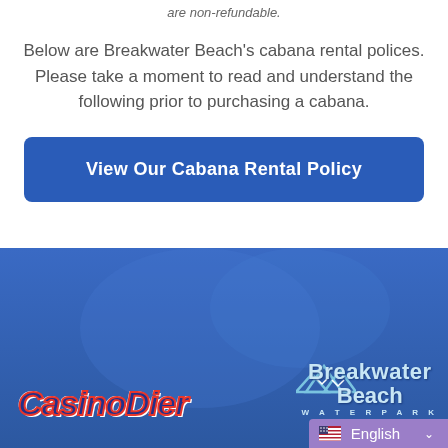are non-refundable.
Below are Breakwater Beach's cabana rental polices. Please take a moment to read and understand the following prior to purchasing a cabana.
[Figure (screenshot): Blue button labeled 'View Our Cabana Rental Policy']
[Figure (logo): Footer with blue background containing Casino Pier logo on left and Breakwater Beach Waterpark logo on right, with English language selector bar at bottom right]